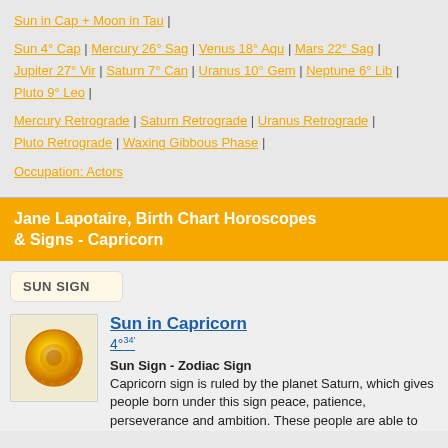Sun in Cap + Moon in Tau |
Sun 4° Cap | Mercury 26° Sag | Venus 18° Aqu | Mars 22° Sag | Jupiter 27° Vir | Saturn 7° Can | Uranus 10° Gem | Neptune 6° Lib | Pluto 9° Leo |
Mercury Retrograde | Saturn Retrograde | Uranus Retrograde | Pluto Retrograde | Waxing Gibbous Phase |
Occupation: Actors
Jane Lapotaire, Birth Chart Horoscopes & Signs - Capricorn
SUN SIGN
Sun in Capricorn
4°34'
Sun Sign - Zodiac Sign
Capricorn sign is ruled by the planet Saturn, which gives people born under this sign peace, patience, perseverance and ambition. These people are able to